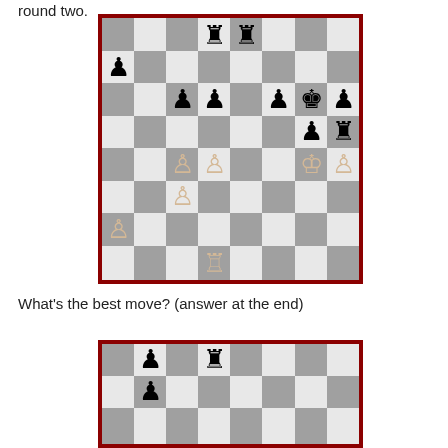round two.
[Figure (other): Chess board diagram showing a mid-game position with black rooks on d8 and e8, black pawns on a6, c5, d5, f5, h5, black king on g5, black pawn on g4, black rook on h4, white pawns on c4, d4, g4, h4, c3, a2, white king on g3, white rook on d1]
What's the best move? (answer at the end)
[Figure (other): Second chess board diagram (partially visible), showing black pawn on b7, black rook on d7, and another piece on b6]